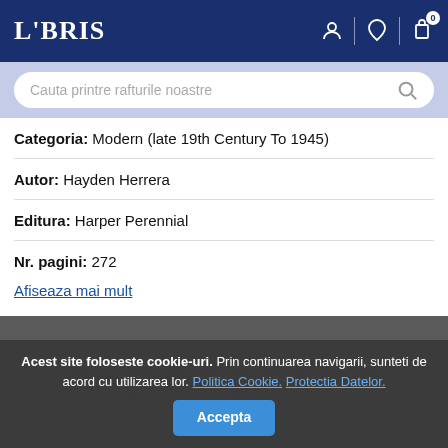LIBRIS
Cauta printre rafturile noastre
Categoria: Modern (late 19th Century To 1945)
Autor: Hayden Herrera
Editura: Harper Perennial
Nr. pagini: 272
Afiseaza mai mult
Acest site foloseste cookie-uri. Prin continuarea navigarii, sunteti de acord cu utilizarea lor. Politica Cookie. Protectia Datelor.
Accepta